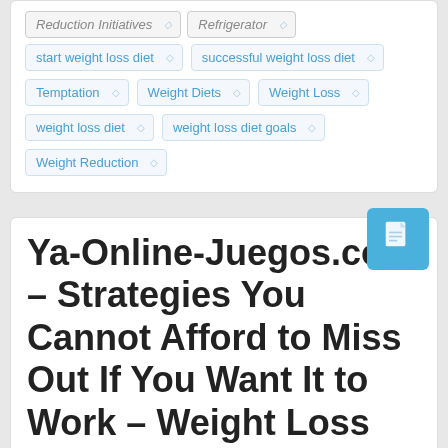Reduction Initiatives
Refrigerator
start weight loss diet
successful weight loss diet
Temptation
Weight Diets
Weight Loss
weight loss diet
weight loss diet goals
Weight Reduction
[Figure (illustration): Blue document/file icon on teal square background]
Ya-Online-Juegos.com – Strategies You Cannot Afford to Miss Out If You Want It to Work – Weight Loss Program
Posted on April 2, 2019 · admin · Posted in: Obesity /